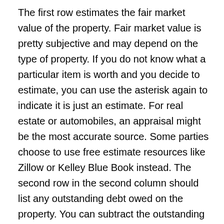The first row estimates the fair market value of the property. Fair market value is pretty subjective and may depend on the type of property. If you do not know what a particular item is worth and you decide to estimate, you can use the asterisk again to indicate it is just an estimate. For real estate or automobiles, an appraisal might be the most accurate source. Some parties choose to use free estimate resources like Zillow or Kelley Blue Book instead. The second row in the second column should list any outstanding debt owed on the property. You can subtract the outstanding debt from the fair market value to determine the property's net value. The property and its net value then can be assigned to Party A or Party B in the third or fourth column respectively. Repeat this process for all community property. Just like the separate property section, the form may not provide enough room to list everything. You can attach and refer to an inventory of community property.